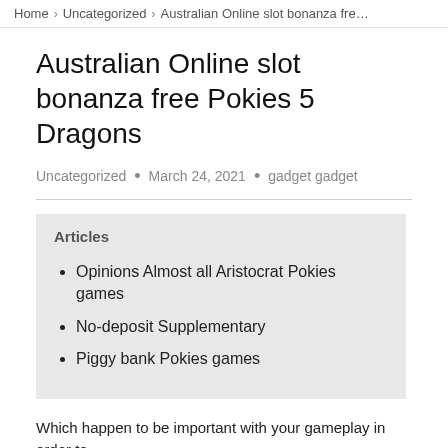Home › Uncategorized › Australian Online slot bonanza fre…
Australian Online slot bonanza free Pokies 5 Dragons
Uncategorized • March 24, 2021 • gadget gadget
Articles
Opinions Almost all Aristocrat Pokies games
No-deposit Supplementary
Piggy bank Pokies games
Which happen to be important with your gameplay in order to